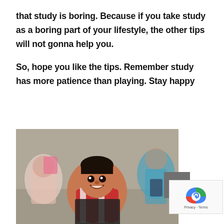you are a study freak. Remove from your mind that study is boring. Because if you take study as a boring part of your lifestyle, the other tips will not gonna help you.
So, hope you like the tips. Remember study has more patience than playing. Stay happy
[Figure (photo): A smiling young boy in a classroom setting holding what appears to be a book or slate, with other children blurred in the background.]